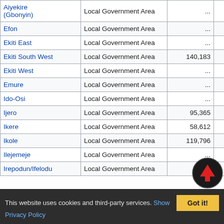| Name | Type | 1991 Census | 2006 Census | 2016 Estimate |
| --- | --- | --- | --- | --- |
| Aiyekire (Gbonyin) | Local Government Area | ... | 147,999 | 221,600 |
| Efon | Local Government Area | ... | 87,187 | 130,600 |
| Ekiti East | Local Government Area | ... | 138,340 | 207,100 |
| Ekiti South West | Local Government Area | 140,183 | 165,087 | 247,200 |
| Ekiti West | Local Government Area | ... | 179,600 | 268,900 |
| Emure | Local Government Area | ... | 94,264 | 141,200 |
| Ido-Osi | Local Government Area | ... | 160,001 | 239,600 |
| Ijero | Local Government Area | 95,365 | 221,873 | 332,200 |
| Ikere | Local Government Area | 58,612 | 148,558 | 222,400 |
| Ikole | Local Government Area | 119,796 | 170,414 | 255,200 |
| Ilejemeje | Local Government Area | ... | 43,459 | 65,100 |
| Irepodun/Ifelodu | Local Government Area | ... | ... | ... |
This website uses cookies and third-party services. Show Privacy Policy